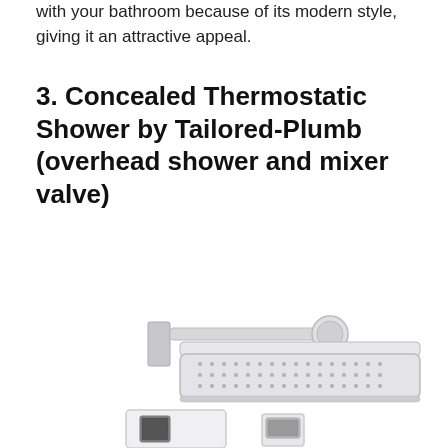with your bathroom because of its modern style, giving it an attractive appeal.
3. Concealed Thermostatic Shower by Tailored-Plumb (overhead shower and mixer valve)
[Figure (photo): Product photo of a concealed thermostatic shower system showing a large square overhead shower head mounted on a wall arm, and below it a square thermostatic mixer valve unit and a separate digital/remote control unit.]